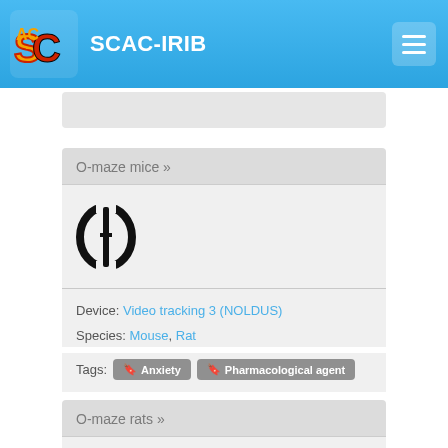SCAC-IRIB
O-maze mice »
[Figure (illustration): O-maze apparatus icon — top-down circular maze silhouette with a vertical divider]
Device: Video tracking 3 (NOLDUS)
Species: Mouse, Rat
Tags: Anxiety  Pharmacological agent
O-maze rats »
[Figure (illustration): O-maze apparatus icon — top-down circular maze silhouette with a vertical divider]